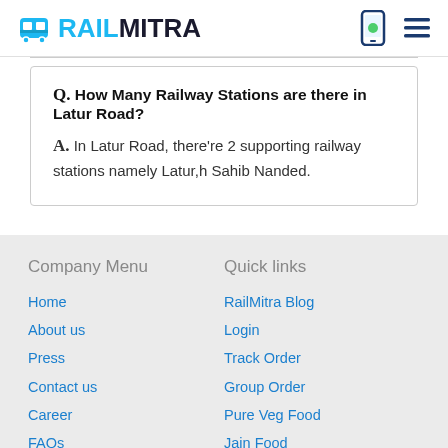RAILMITRA
Q. How Many Railway Stations are there in Latur Road?
A. In Latur Road, there're 2 supporting railway stations namely Latur,h Sahib Nanded.
Company Menu
Home
About us
Press
Contact us
Career
FAQs
Privacy Policy
Terms & Condition
Sitemap
Quick links
RailMitra Blog
Login
Track Order
Group Order
Pure Veg Food
Jain Food
Locations
Offers